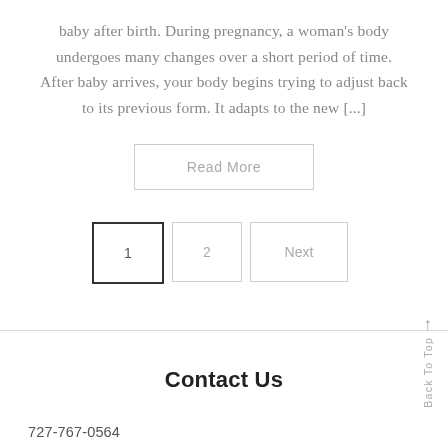baby after birth. During pregnancy, a woman's body undergoes many changes over a short period of time. After baby arrives, your body begins trying to adjust back to its previous form. It adapts to the new [...]
Read More
1   2   Next
Contact Us
727-767-0564